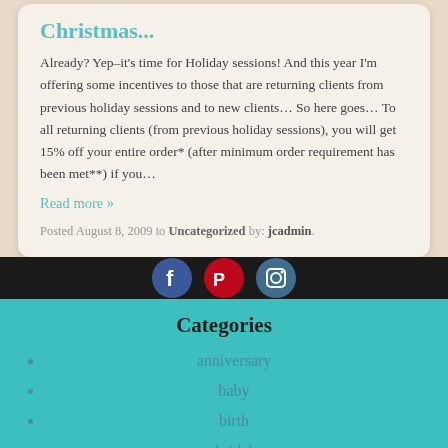Christmas...
Already? Yep–it's time for Holiday sessions! And this year I'm offering some incentives to those that are returning clients from previous holiday sessions and to new clients… So here goes… To all returning clients (from previous holiday sessions), you will get 15% off your entire order* (after minimum order requirement has been met**) if you…
Read more »
Posted August 8, 2009 to Uncategorized by: jcadmin.
1  2  Next
[Figure (infographic): Social media icons: Facebook (blue circle), Pinterest (red circle), Instagram (teal circle)]
Categories
anniversary
baby
birth
bridal